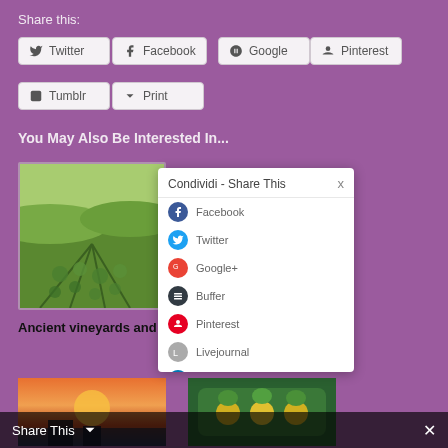Share this:
Twitter
Facebook
Google
Pinterest
Tumblr
Print
You May Also Be Interested In...
[Figure (photo): Vineyard landscape photo showing rows of grapevines on green hills]
Ancient vineyards and
Tuscany
[Figure (screenshot): Condividi - Share This popup dialog showing social sharing options: Facebook, Twitter, Google+, Buffer, Pinterest, Livejournal, LinkedIn]
[Figure (photo): Sunset over water photo]
[Figure (photo): Green pottery with lemons photo]
Share This